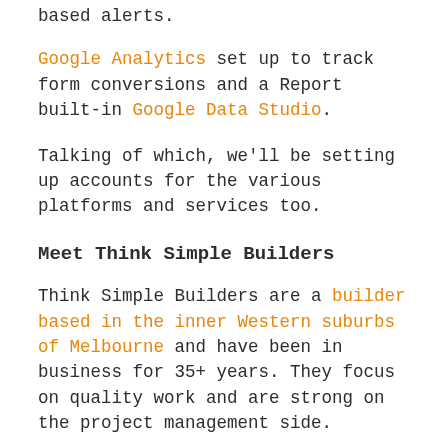based alerts.
Google Analytics set up to track form conversions and a Report built-in Google Data Studio.
Talking of which, we'll be setting up accounts for the various platforms and services too.
Meet Think Simple Builders
Think Simple Builders are a builder based in the inner Western suburbs of Melbourne and have been in business for 35+ years. They focus on quality work and are strong on the project management side.
Tom, the owner, has a website but it wasn't doing much for him both in terms of SEO and conversions.